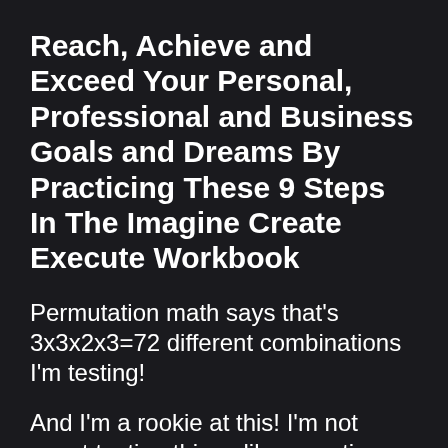Reach, Achieve and Exceed Your Personal, Professional and Business Goals and Dreams By Practicing These 9 Steps In The Imagine Create Execute Workbook
Permutation math says that's 3x3x2x3=72 different combinations I'm testing!
And I'm a rookie at this! I'm not event testing things like narrative, positioning, and emotional leanings!